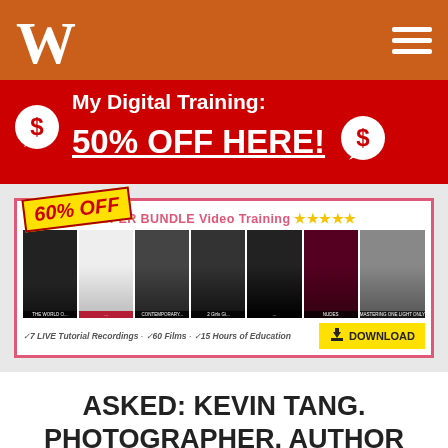W [logo] [hamburger menu]
[Figure (infographic): Red promotional banner: dollar sign speech bubble icon, text 'My Digital Training: 50% OFF HERE!' with underline, second dollar sign speech bubble icon on the right]
[Figure (infographic): Super Bundle Video Training advertisement with 60% OFF yellow tag, pink border, multiple photography course cover images, checkmarks: 7 LIVE Tutorial Recordings, 60 Films, 15 Hours of Education, yellow DOWNLOAD button]
ASKED: KEVIN TANG. PHOTOGRAPHER, AUTHOR